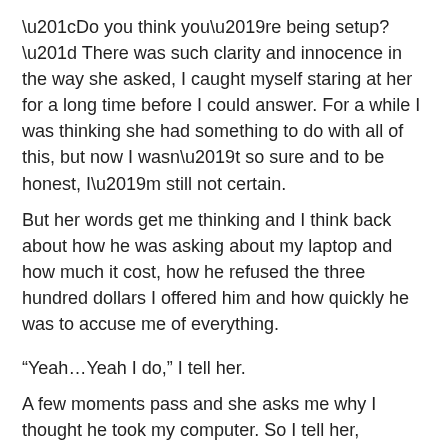“Do you think you’re being setup?” There was such clarity and innocence in the way she asked, I caught myself staring at her for a long time before I could answer. For a while I was thinking she had something to do with all of this, but now I wasn’t so sure and to be honest, I’m still not certain.
But her words get me thinking and I think back about how he was asking about my laptop and how much it cost, how he refused the three hundred dollars I offered him and how quickly he was to accuse me of everything.
“Yeah…Yeah I do,” I tell her.
A few moments pass and she asks me why I thought he took my computer. So I tell her,
“Because my computer is worth a lot more than three hundred bucks, which is why he was so quick to declined my offer when I made it.”